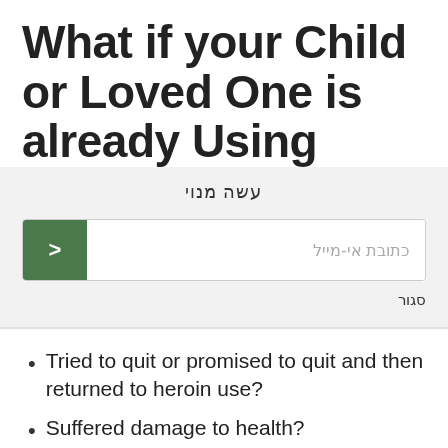What if your Child or Loved One is already Using
עשה מנוי
כתובת אי-מייל
סגור
Tried to quit or promised to quit and then returned to heroin use?
Suffered damage to health?
Been arrested once or more than once for